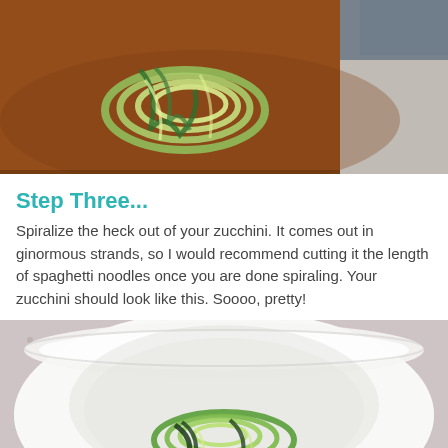[Figure (photo): Spiralized zucchini noodles coiled on a brown cutting board, with a hand visible in the background.]
Step Three...
Spiralize the heck out of your zucchini.  It comes out in ginormous strands, so I would recommend cutting it the length of spaghetti noodles once you are done spiraling.  Your zucchini should look like this.  Soooo, pretty!
[Figure (photo): Spiralized zucchini noodles placed in a white bowl, showing green spiraled strands.]